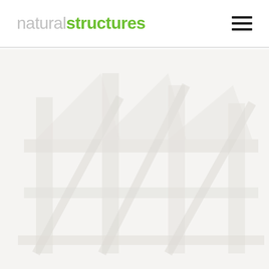natural structures
[Figure (illustration): Light gray hero background area with faint watermark/ghost imagery of what appears to be structural timber or building framing elements]